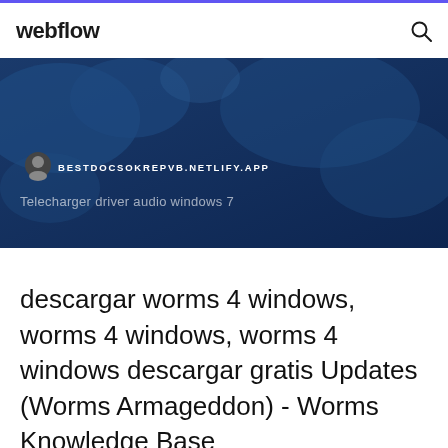webflow
[Figure (screenshot): Hero banner with dark blue background showing a map silhouette, a small circular user icon, the URL 'BESTDOCSOKREPVB.NETLIFY.APP' in white uppercase text, and below it 'Telecharger driver audio windows 7' in light translucent text]
descargar worms 4 windows, worms 4 windows, worms 4 windows descargar gratis Updates (Worms Armageddon) - Worms Knowledge Base